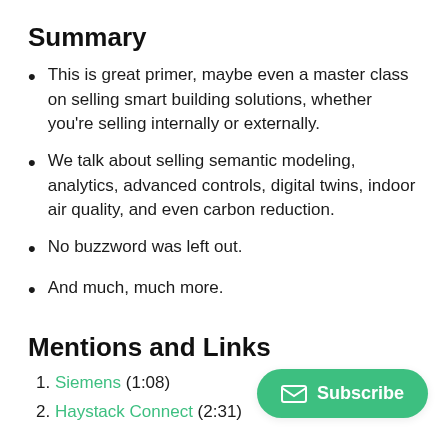Summary
This is great primer, maybe even a master class on selling smart building solutions, whether you're selling internally or externally.
We talk about selling semantic modeling, analytics, advanced controls, digital twins, indoor air quality, and even carbon reduction.
No buzzword was left out.
And much, much more.
Mentions and Links
Siemens (1:08)
Haystack Connect (2:31)